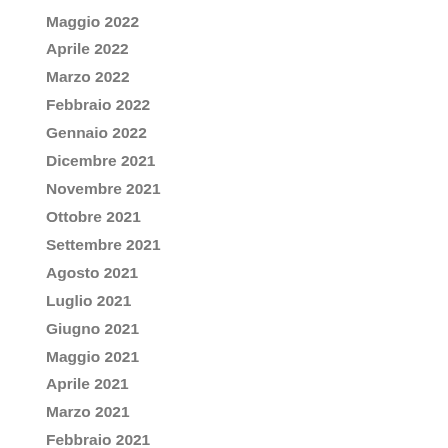Maggio 2022
Aprile 2022
Marzo 2022
Febbraio 2022
Gennaio 2022
Dicembre 2021
Novembre 2021
Ottobre 2021
Settembre 2021
Agosto 2021
Luglio 2021
Giugno 2021
Maggio 2021
Aprile 2021
Marzo 2021
Febbraio 2021
Gennaio 2021
Novembre 2020